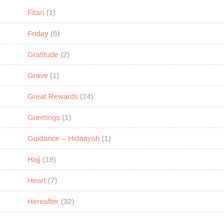Fitan (1)
Friday (6)
Gratitude (2)
Grave (1)
Great Rewards (24)
Greetings (1)
Guidance – Hidaayah (1)
Hajj (19)
Heart (7)
Hereafter (32)